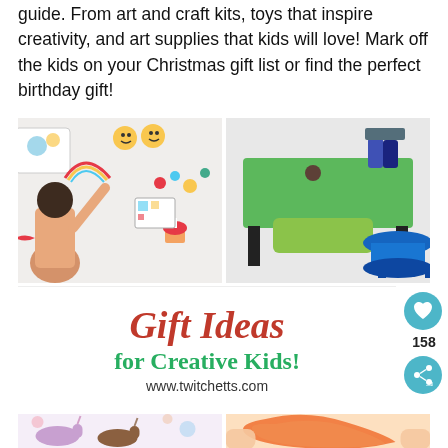guide. From art and craft kits, toys that inspire creativity, and art supplies that kids will love! Mark off the kids on your Christmas gift list or find the perfect birthday gift!
[Figure (photo): Left: A child reaching up to touch colorful drawings and stickers on a white wall. Right: A green-topped kids activity table with a lime green tray/drawer and a blue round stool, on a light background.]
[Figure (infographic): Promotional banner reading 'Gift Ideas for Creative Kids!' in red italic and green bold text, with URL www.twitchetts.com below, on white background. Heart icon button (158 saves) and share button visible on right side.]
[Figure (photo): Left: Colorful unicorn paper craft figures on a decorative background. Right: Hands stretching orange slime/putty.]